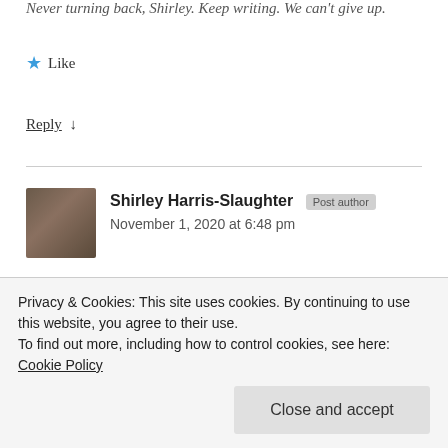Never turning back, Shirley. Keep writing. We can't give up.
★ Like
Reply ↓
Shirley Harris-Slaughter  Post author
November 1, 2020 at 6:48 pm
Yes Wanda. I have grown weary just thinking about the setbacks in civil rights. This time the root to the causes will have to be addressed and some form of reparations. I'm
Privacy & Cookies: This site uses cookies. By continuing to use this website, you agree to their use.
To find out more, including how to control cookies, see here: Cookie Policy
Close and accept